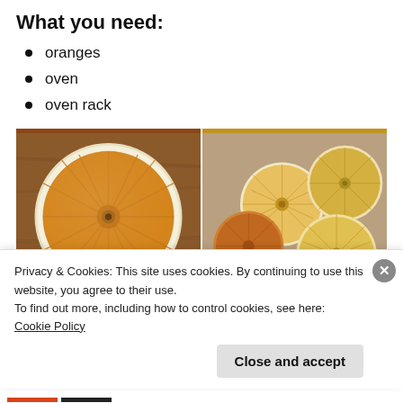What you need:
oranges
oven
oven rack
[Figure (photo): Two side-by-side photos: left shows a single dried orange slice cross-section on a wooden surface, right shows multiple dried orange slices piled on a surface. Both watermarked 'Our Little House'.]
Privacy & Cookies: This site uses cookies. By continuing to use this website, you agree to their use.
To find out more, including how to control cookies, see here: Cookie Policy
Close and accept